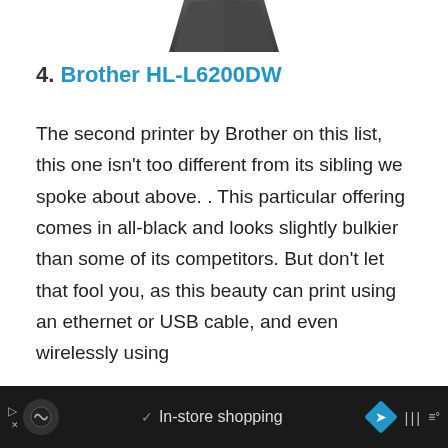[Figure (photo): Bottom portion of a dark gray/black Brother printer device shown from above, cropped at the top of the page]
4. Brother HL-L6200DW
The second printer by Brother on this list, this one isn't too different from its sibling we spoke about above. . This particular offering comes in all-black and looks slightly bulkier than some of its competitors. But don't let that fool you, as this beauty can print using an ethernet or USB cable, and even wirelessly using
[Figure (screenshot): Advertisement bar at the bottom: dark background with Google Ads icon, checkmark, 'In-store shopping' text, and a blue diamond navigation icon]